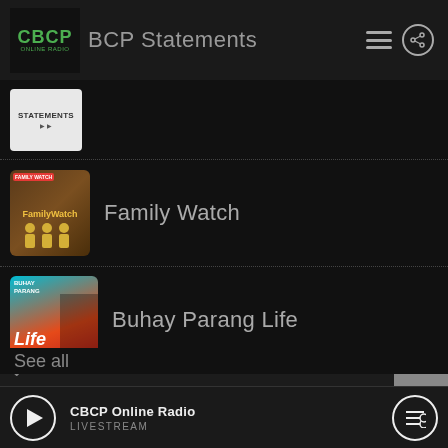CBCP Online Radio — CBCP Statements
[Figure (screenshot): CBCP Statements thumbnail — white background with STATEMENTS label]
Family Watch
Buhay Parang Life
Sharing From The City
See all
CBCP Online Radio
LIVESTREAM